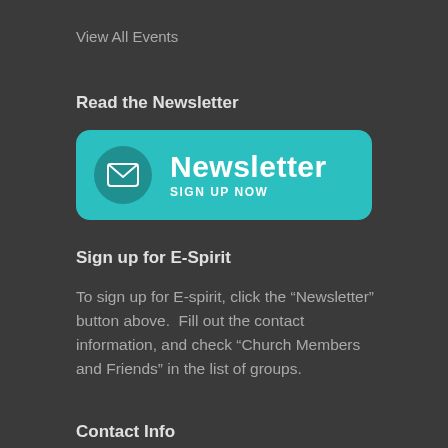View All Events
Read the Newsletter
[Figure (other): Teal rounded rectangle button with envelope icon and text 'Newsletter SIGN UP NOW']
Sign up for E-Spirit
To sign up for E-spirit, click the “Newsletter” button above.  Fill out the contact information, and check “Church Members and Friends” in the list of groups.
Contact Info